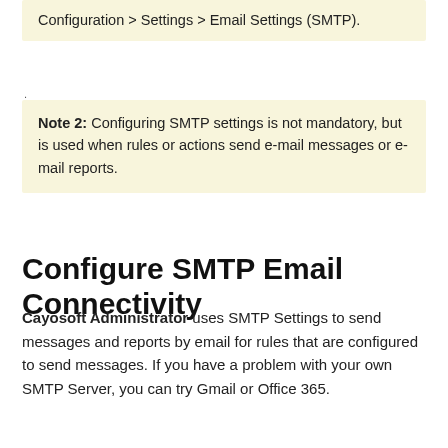Configuration > Settings > Email Settings (SMTP).
Note 2: Configuring SMTP settings is not mandatory, but is used when rules or actions send e-mail messages or e-mail reports.
Configure SMTP Email Connectivity
Cayosoft Administrator uses SMTP Settings to send messages and reports by email for rules that are configured to send messages. If you have a problem with your own SMTP Server, you can try Gmail or Office 365.